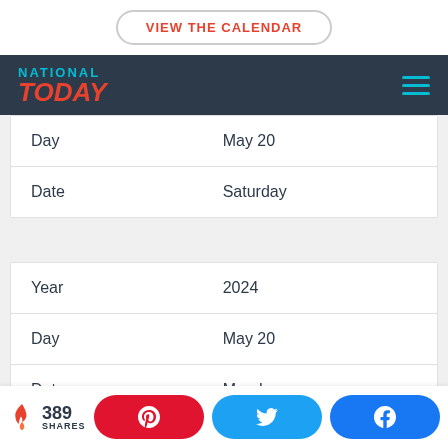[Figure (screenshot): VIEW THE CALENDAR button at top]
[Figure (logo): National Today logo with hamburger menu on dark navy background]
|  |  |
| --- | --- |
| Day | May 20 |
| Date | Saturday |
|  |  |
| --- | --- |
| Year | 2024 |
| Day | May 20 |
| Date | Monday |
389 SHARES | Pinterest share | Twitter share | Facebook share